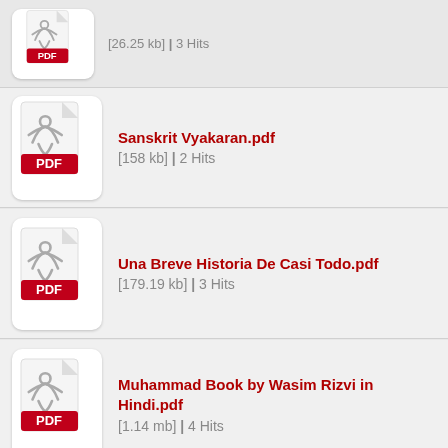[26.25 kb] | 3 Hits
Sanskrit Vyakaran.pdf [158 kb] | 2 Hits
Una Breve Historia De Casi Todo.pdf [179.19 kb] | 3 Hits
Muhammad Book by Wasim Rizvi in Hindi.pdf [1.14 mb] | 4 Hits
(partial row)